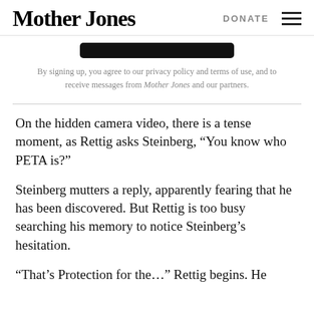Mother Jones   DONATE
[Figure (other): Dark rounded-rectangle button (sign up button, partially visible)]
By signing up, you agree to our privacy policy and terms of use, and to receive messages from Mother Jones and our partners.
On the hidden camera video, there is a tense moment, as Rettig asks Steinberg, “You know who PETA is?”
Steinberg mutters a reply, apparently fearing that he has been discovered. But Rettig is too busy searching his memory to notice Steinberg’s hesitation.
“That’s Protection for the…” Rettig begins. He